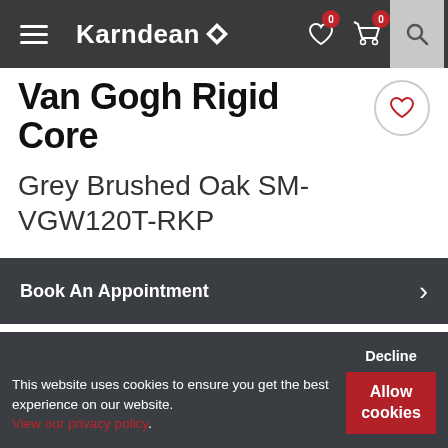Karndean (navigation bar with hamburger menu, wishlist, cart, and search icons)
Van Gogh Rigid Core
Grey Brushed Oak SM-VGW120T-RKP
Book An Appointment
Download BIM Files
This website uses cookies to ensure you get the best experience on our website. View our privacy policy. Decline / Allow cookies